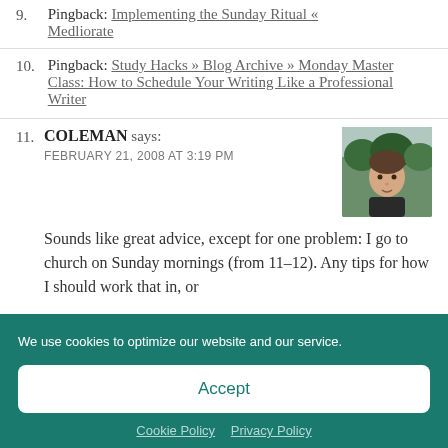9. Pingback: Implementing the Sunday Ritual « Medliorate
10. Pingback: Study Hacks » Blog Archive » Monday Master Class: How to Schedule Your Writing Like a Professional Writer
11. COLEMAN says: FEBRUARY 21, 2008 AT 3:19 PM — Sounds like great advice, except for one problem: I go to church on Sunday mornings (from 11–12). Any tips for how I should work that in, or
We use cookies to optimize our website and our service.
Accept
Cookie Policy   Privacy Policy